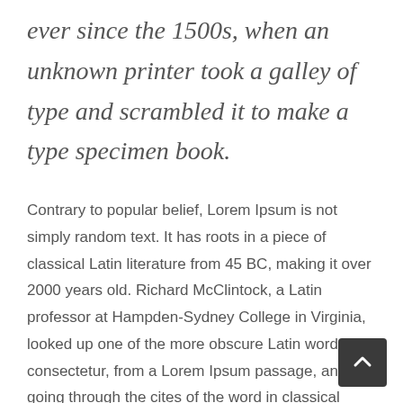ever since the 1500s, when an unknown printer took a galley of type and scrambled it to make a type specimen book.
Contrary to popular belief, Lorem Ipsum is not simply random text. It has roots in a piece of classical Latin literature from 45 BC, making it over 2000 years old. Richard McClintock, a Latin professor at Hampden-Sydney College in Virginia, looked up one of the more obscure Latin words, consectetur, from a Lorem Ipsum passage, and going through the cites of the word in classical literature, discovered the undoubtable source.